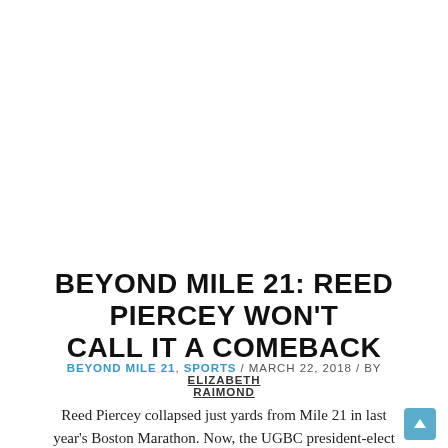BEYOND MILE 21: REED PIERCEY WON'T CALL IT A COMEBACK
BEYOND MILE 21, SPORTS / MARCH 22, 2018 / BY ELIZABETH RAIMOND
Reed Piercey collapsed just yards from Mile 21 in last year's Boston Marathon. Now, the UGBC president-elect